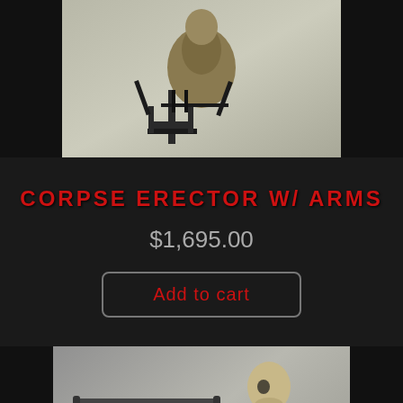[Figure (photo): Photo of a small animatronic figure or prop on a stand/mechanism, with a skull-like head, against a light gray background. Top portion of a product image.]
CORPSE ERECTOR W/ ARMS
$1,695.00
Add to cart
[Figure (photo): Photo of a skeleton prop rising up from a scissor-lift or expanding mechanism. The skeleton is posed in a crawling/rising position against a gray background. Halloween or haunted house prop.]